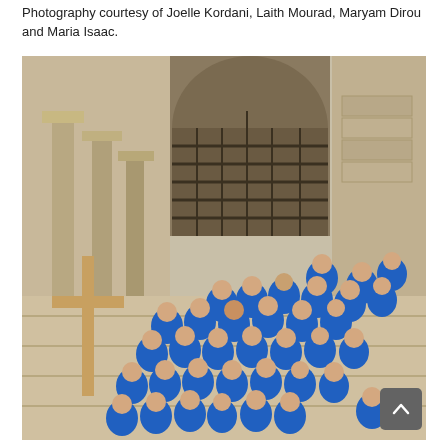Photography courtesy of Joelle Kordani, Laith Mourad, Maryam Dirou and Maria Isaac.
[Figure (photo): Group of approximately 30 people wearing matching blue t-shirts posing on the steps of an ancient stone church or historical site with ornate columns and a large arched window with iron grille. A wooden cross is visible on the left side of the image.]